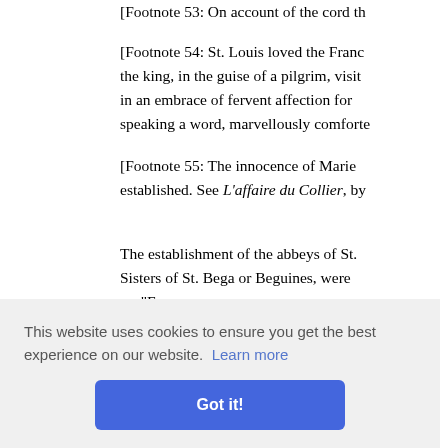[Footnote 53: On account of the cord th...
[Footnote 54: St. Louis loved the Franc... the king, in the guise of a pilgrim, visit... in an embrace of fervent affection for... speaking a word, marvellously comforte...
[Footnote 55: The innocence of Marie... established. See L'affaire du Collier, by...
The establishment of the abbeys of St.... Sisters of St. Bega or Beguines, were... es. "Ever... and silver... hat he bu... in his r... casion tha... feared their excommunications, and p...
This website uses cookies to ensure you get the best experience on our website. Learn more
Got it!